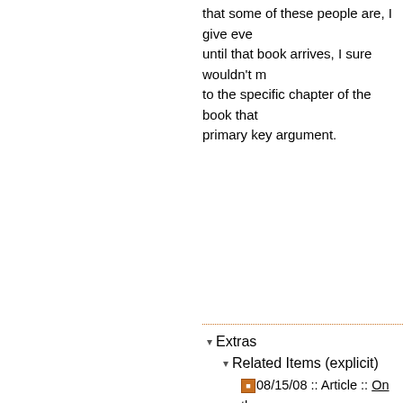that some of these people are, I give eve until that book arrives, I sure wouldn't m to the specific chapter of the book that primary key argument.
Continued at top
Owned by UnkieMidriff - Created on 07/
Extras
Related Items (explicit)
08/15/08 :: Article :: On the proper nature of the choice
07/15/05 :: Reference :: (link) :: Everyone is wrong, because I read books.
07/15/05 :: Reference :: (link) :: M
06/16/04 :: Folder :: Databases
Sort 4 items by: Owner - Last update
Similar Items (implicit)
12/29/11 :: Article :: Order of trig before and after triggers, with their p cascade set nulls?
08/14/08 :: Article :: On database